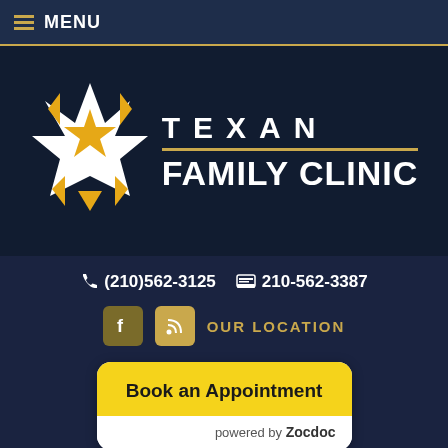MENU
[Figure (logo): Texan Family Clinic logo with star emblem in gold and white on dark navy background]
(210)562-3125   210-562-3387
OUR LOCATION
Book an Appointment powered by Zocdoc